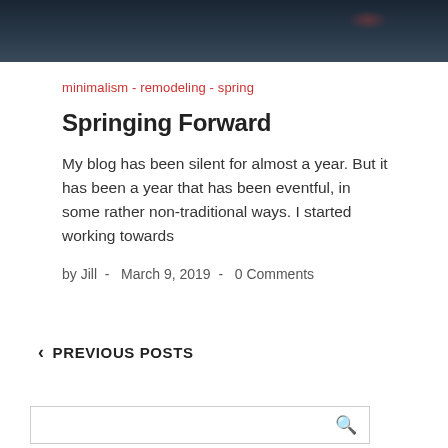[Figure (photo): Dark moody header image with deep blue/dark tones, appears to be a night scene]
minimalism - remodeling - spring
Springing Forward
My blog has been silent for almost a year. But it has been a year that has been eventful, in some rather non-traditional ways. I started working towards
by Jill  -  March 9, 2019  -  0 Comments
< PREVIOUS POSTS